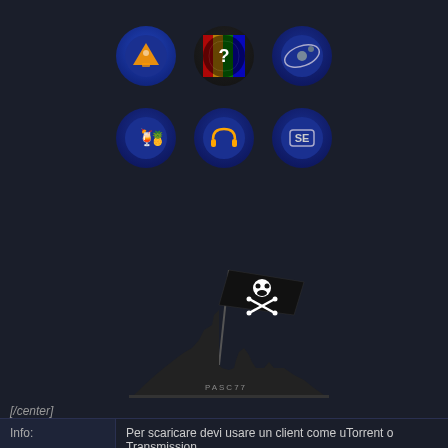[Figure (screenshot): Two rows of app icon circles on dark background: VLC, question mark, orbit/space; drinks/pineapple, headphones, SE]
[Figure (illustration): Pirate flag raising scene silhouette (Iwo Jima style) with skull and crossbones flag, watermark PASC77]
[/center]
|  |  |
| --- | --- |
| Info: | Per scaricare devi usare un client come uTorrent o Transmission |
| AnnounceURL | udp://tracker.coppersurfer.tk:6969/announce |
| Hash | ba63f7b6a079616ca6d79bfbf8e794d50d784dc4 |